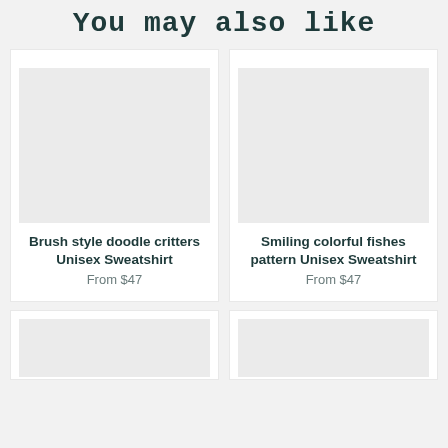You may also like
[Figure (photo): Product image placeholder for Brush style doodle critters Unisex Sweatshirt]
Brush style doodle critters Unisex Sweatshirt
From $47
[Figure (photo): Product image placeholder for Smiling colorful fishes pattern Unisex Sweatshirt]
Smiling colorful fishes pattern Unisex Sweatshirt
From $47
[Figure (photo): Product image placeholder for third product, partially visible]
[Figure (photo): Product image placeholder for fourth product, partially visible]